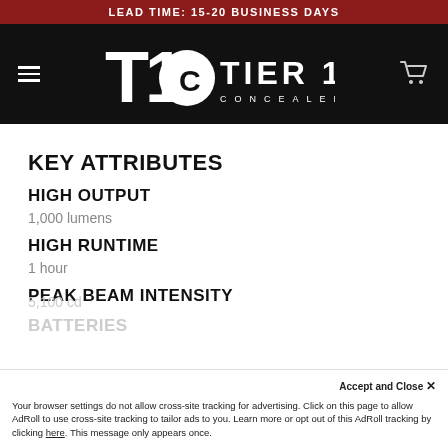LEAD TIME: 15-20 BUSINESS DAYS
[Figure (logo): Tier 1 Concealed logo on black navigation bar with hamburger menu and cart icon]
KEY ATTRIBUTES
HIGH OUTPUT
1,000 lumens
HIGH RUNTIME
1 hour
PEAK BEAM INTENSITY
5,100 cd
BATTERIES
Accept and Close ✕
Your browser settings do not allow cross-site tracking for advertising. Click on this page to allow AdRoll to use cross-site tracking to tailor ads to you. Learn more or opt out of this AdRoll tracking by clicking here. This message only appears once.